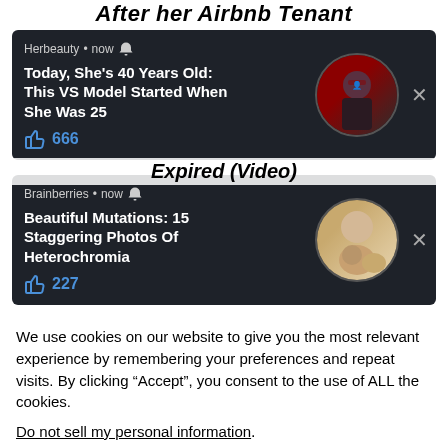After her Airbnb Tenant
[Figure (screenshot): Dark-themed ad card from Herbeauty with title 'Today, She's 40 Years Old: This VS Model Started When She Was 25', 666 likes, circular photo of a woman in black outfit on red background]
Expired (Video)
[Figure (screenshot): Dark-themed ad card from Brainberries with title 'Beautiful Mutations: 15 Staggering Photos Of Heterochromia', 227 likes, circular photo of a blonde woman with a dog]
We use cookies on our website to give you the most relevant experience by remembering your preferences and repeat visits. By clicking “Accept”, you consent to the use of ALL the cookies.
Do not sell my personal information.
Cookie Settings   Accept